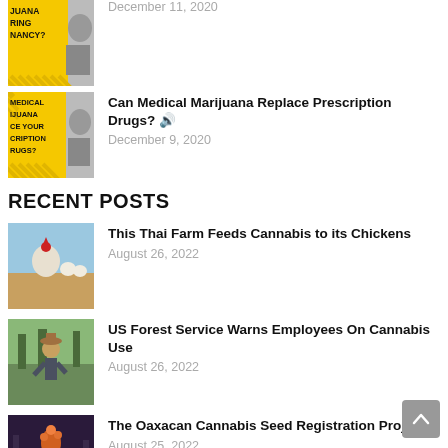Can Medical Marijuana Replace Prescription Drugs? December 9, 2020
RECENT POSTS
This Thai Farm Feeds Cannabis to its Chickens — August 26, 2022
US Forest Service Warns Employees On Cannabis Use — August 26, 2022
The Oaxacan Cannabis Seed Registration Project — August 25, 2022